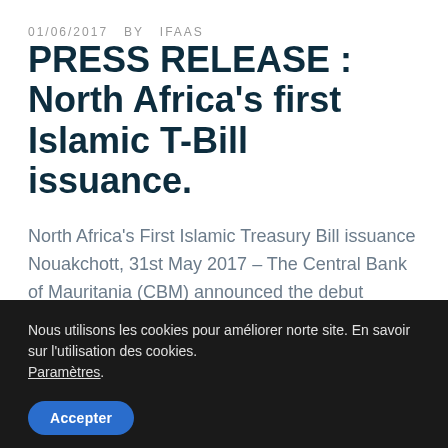01/06/2017  BY  IFAAS
PRESS RELEASE : North Africa's first Islamic T-Bill issuance.
North Africa's First Islamic Treasury Bill issuance Nouakchott, 31st May 2017 – The Central Bank of Mauritania (CBM) announced the debut issuance of its new Sharia compliant instrument. Islamic banking market in Mauritania has experienced a strong growth over the last few years. The
Nous utilisons les cookies pour améliorer norte site. En savoir sur l'utilisation des cookies. Paramètres.
Accepter